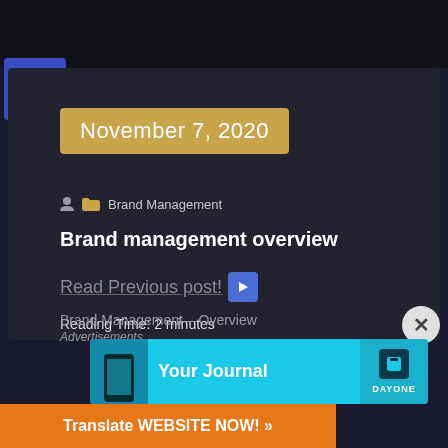[Figure (screenshot): Dark top strip simulating a web page header photo]
[Figure (logo): Blue accessibility icon button with wheelchair symbol]
November 7, 2020
Brand Management
Brand management overview
Read Previous post!
Reading Time: 2 minutes
Brand Management – Overview
Advertisements
Your Journal
Translate WEBSITE NOW! »